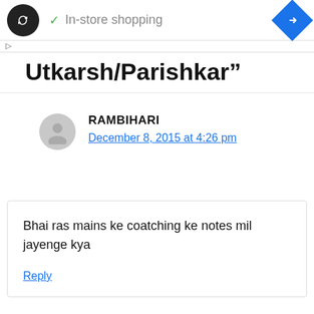[Figure (screenshot): Ad banner with black circular logo with infinite/loop icon, green checkmark and 'In-store shopping' text, blue diamond navigation icon]
Utkarsh/Parishkar”
RAMBIHARI
December 8, 2015 at 4:26 pm
Bhai ras mains ke coatching ke notes mil jayenge kya
Reply